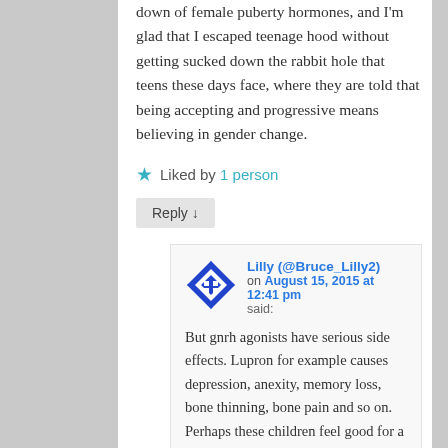down of female puberty hormones, and I'm glad that I escaped teenage hood without getting sucked down the rabbit hole that teens these days face, where they are told that being accepting and progressive means believing in gender change.
Liked by 1 person
Reply ↓
Lilly (@Bruce_Lilly2) on August 15, 2015 at 12:41 pm said:
But gnrh agonists have serious side effects. Lupron for example causes depression, anexity, memory loss, bone thinning, bone pain and so on. Perhaps these children feel good for a certain amount of time but once gnrh agonists start to affect their health – they